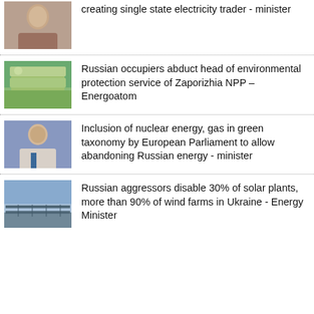creating single state electricity trader - minister
Russian occupiers abduct head of environmental protection service of Zaporizhia NPP – Energoatom
Inclusion of nuclear energy, gas in green taxonomy by European Parliament to allow abandoning Russian energy - minister
Russian aggressors disable 30% of solar plants, more than 90% of wind farms in Ukraine - Energy Minister